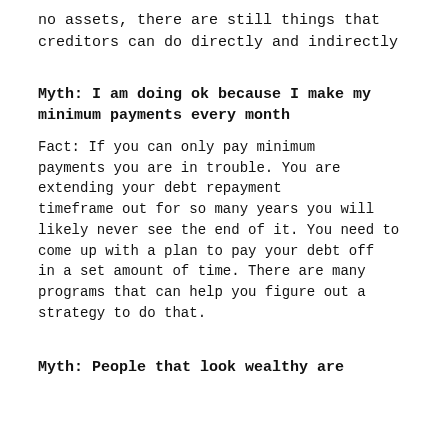no assets, there are still things that creditors can do directly and indirectly
Myth: I am doing ok because I make my minimum payments every month
Fact: If you can only pay minimum payments you are in trouble. You are extending your debt repayment timeframe out for so many years you will likely never see the end of it. You need to come up with a plan to pay your debt off in a set amount of time. There are many programs that can help you figure out a strategy to do that.
Myth: People that look wealthy are